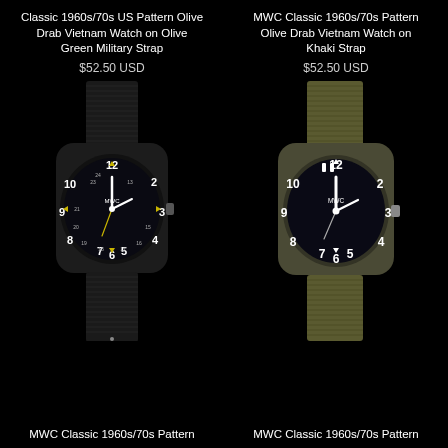Classic 1960s/70s US Pattern Olive Drab Vietnam Watch on Olive Green Military Strap
$52.50 USD
[Figure (photo): Military watch with black case on black nylon strap, showing yellow luminous markers]
MWC Classic 1960s/70s Pattern Olive Drab Vietnam Watch on Khaki Strap
$52.50 USD
[Figure (photo): Military watch with olive drab case on khaki/olive nylon strap, white luminous markers]
MWC Classic 1960s/70s Pattern
MWC Classic 1960s/70s Pattern